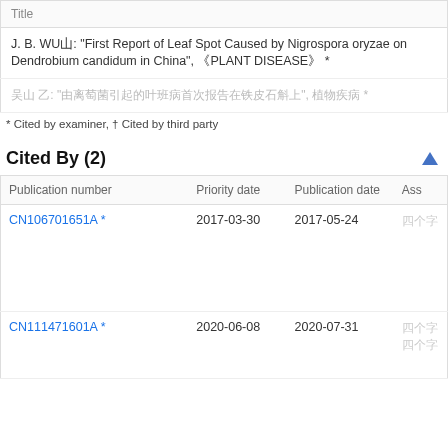| Title |
| --- |
| J. B. WU山: "First Report of Leaf Spot Caused by Nigrospora oryzae on Dendrobium candidum in China", 《PLANT DISEASE》 * |
| [Chinese characters]: "[Chinese characters]", [Chinese characters] * |
* Cited by examiner, † Cited by third party
Cited By (2)
| Publication number | Priority date | Publication date | Ass |
| --- | --- | --- | --- |
| CN106701651A * | 2017-03-30 | 2017-05-24 | 四个中文字 |
| CN111471601A * | 2020-06-08 | 2020-07-31 | 四个中文字
四个中文字 |